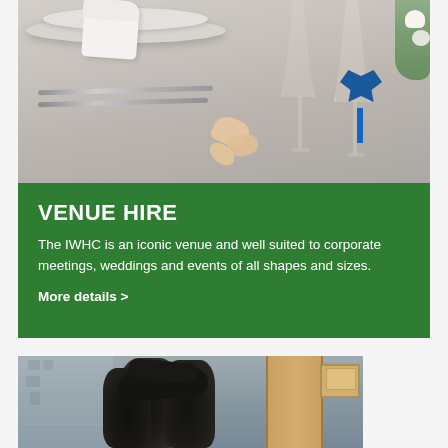[Figure (photo): A formal table setting with white plates, silverware/knives, a white cloth napkin, champagne flutes decorated with a blue satin bow and ribbon, and pale peach rose petals on a white tablecloth.]
VENUE HIRE
The IWHC is an iconic venue and well suited to corporate meetings, weddings and events of all shapes and sizes.
More details >
[Figure (photo): A dark bronze sculpture of two figures (appears to be wrestling or embracing), displayed indoors with a wooden door frame and framed artwork visible in the background.]